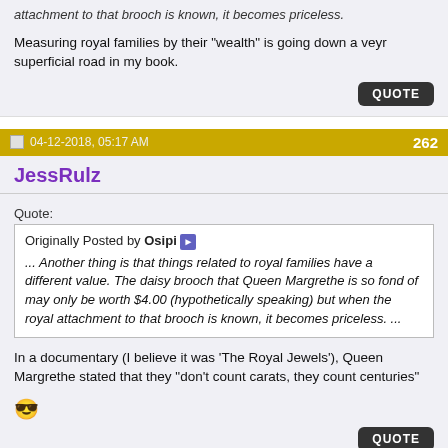attachment to that brooch is known, it becomes priceless.
Measuring royal families by their "wealth" is going down a veyr superficial road in my book.
04-12-2018, 05:17 AM  262
JessRulz
Quote:
Originally Posted by Osipi ... Another thing is that things related to royal families have a different value. The daisy brooch that Queen Margrethe is so fond of may only be worth $4.00 (hypothetically speaking) but when the royal attachment to that brooch is known, it becomes priceless. ...
In a documentary (I believe it was 'The Royal Jewels'), Queen Margrethe stated that they "don't count carats, they count centuries"